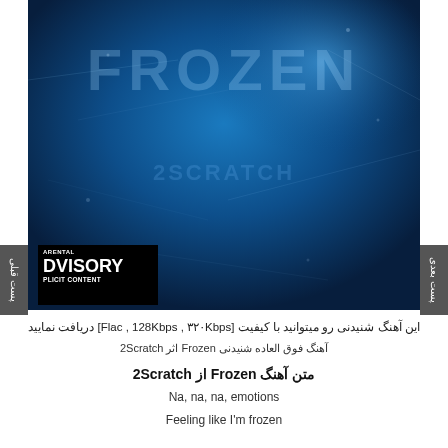[Figure (photo): Album cover art for 'Frozen' by 2Scratch — dark blue icy texture with 'FROZEN' text etched in ice, with Parental Advisory Explicit Content label in bottom-left corner]
این آهنگ شنیدنی رو میتوانید با کیفیت [Flac , 128Kbps , ۳۲۰Kbps] دریافت نمایید
آهنگ فوق العاده شنیدنی Frozen اثر 2Scratch
متن آهنگ Frozen از 2Scratch
Na, na, na, emotions
Feeling like I'm frozen